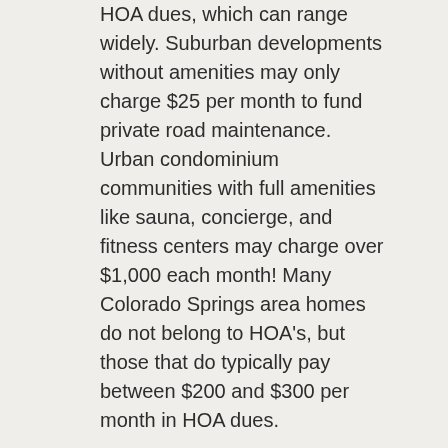HOA dues, which can range widely. Suburban developments without amenities may only charge $25 per month to fund private road maintenance. Urban condominium communities with full amenities like sauna, concierge, and fitness centers may charge over $1,000 each month! Many Colorado Springs area homes do not belong to HOA's, but those that do typically pay between $200 and $300 per month in HOA dues.
HOA Bylaws, Conditions, Covenants, and Restrictions
HOA's also require homeowners' compliance with HOA bylaws. Buyers need to understand